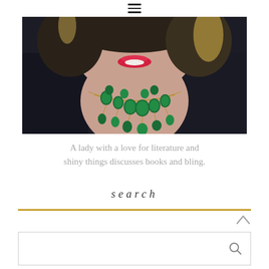hamburger menu icon
[Figure (photo): Close-up portrait of a woman with dark hair with blonde highlights, wearing red lipstick, a black blazer, and a green malachite statement necklace on a gold chain. The photo is cropped from chin to chest.]
A lady with a love for literature and shiny things discusses books and bling.
search
[Figure (other): Gold horizontal rule divider line, with an upward-pointing chevron arrow on the right, and a search input box below with a search (magnifying glass) icon on the right side.]